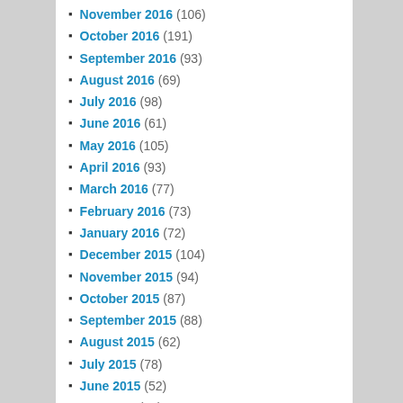November 2016 (106)
October 2016 (191)
September 2016 (93)
August 2016 (69)
July 2016 (98)
June 2016 (61)
May 2016 (105)
April 2016 (93)
March 2016 (77)
February 2016 (73)
January 2016 (72)
December 2015 (104)
November 2015 (94)
October 2015 (87)
September 2015 (88)
August 2015 (62)
July 2015 (78)
June 2015 (52)
May 2015 (71)
April 2015 (61)
March 2015 (52)